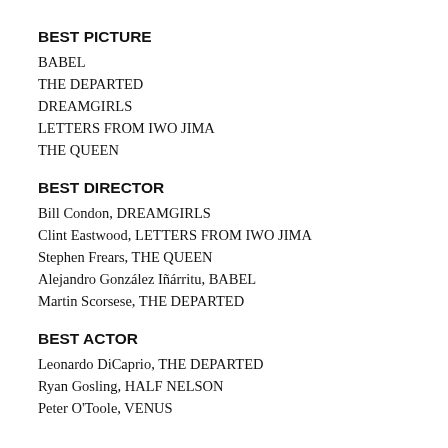BEST PICTURE
BABEL
THE DEPARTED
DREAMGIRLS
LETTERS FROM IWO JIMA
THE QUEEN
BEST DIRECTOR
Bill Condon, DREAMGIRLS
Clint Eastwood, LETTERS FROM IWO JIMA
Stephen Frears, THE QUEEN
Alejandro González Iñárritu, BABEL
Martin Scorsese, THE DEPARTED
BEST ACTOR
Leonardo DiCaprio, THE DEPARTED
Ryan Gosling, HALF NELSON
Peter O'Toole, VENUS